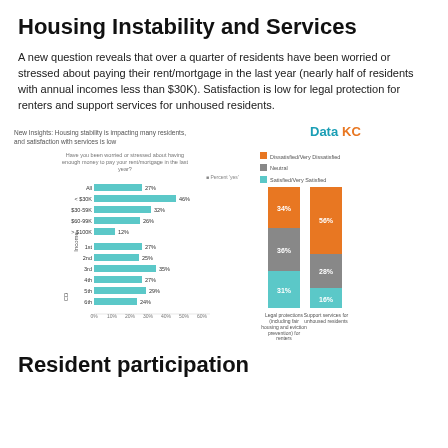Housing Instability and Services
A new question reveals that over a quarter of residents have been worried or stressed about paying their rent/mortgage in the last year (nearly half of residents with annual incomes less than $30K). Satisfaction is low for legal protection for renters and support services for unhoused residents.
[Figure (grouped-bar-chart): Left: horizontal bar chart 'Have you been worried or stressed about having enough money to pay your rent/mortgage in the last year?' by Income and CD groups. Right: stacked bar chart showing Dissatisfied/Very Dissatisfied, Neutral, Satisfied/Very Satisfied for Legal protections and Support services for unhoused residents.]
Resident participation